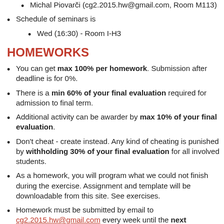Michal Piovarči (cg2.2015.hw@gmail.com, Room M113)
Schedule of seminars is
Wed (16:30) - Room I-H3
HOMEWORKS
You can get max 100% per homework. Submission after deadline is for 0%.
There is a min 60% of your final evaluation required for admission to final term.
Additional activity can be awarder by max 10% of your final evaluation.
Don't cheat - create instead. Any kind of cheating is punished by withholding 30% of your final evaluation for all involved students.
As a homework, you will program what we could not finish during the exercise. Assignment and template will be downloadable from this site. See exercises.
Homework must be submitted by email to cg2.2015.hw@gmail.com every week until the next